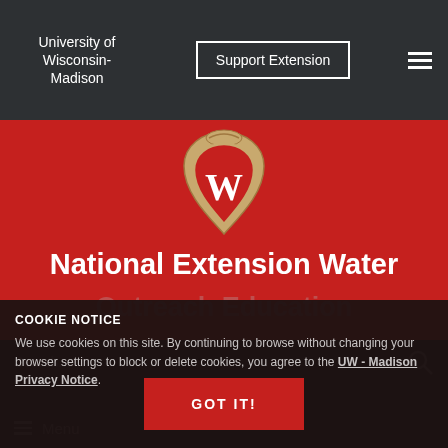University of Wisconsin-Madison | Support Extension
[Figure (logo): University of Wisconsin-Madison W crest seal logo on red background]
National Extension Water Outreach Education
Division of Extension
Search...
COOKIE NOTICE
We use cookies on this site. By continuing to browse without changing your browser settings to block or delete cookies, you agree to the UW - Madison Privacy Notice.
GOT IT!
Menu